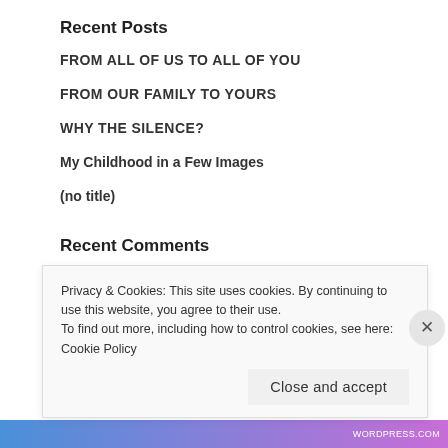Recent Posts
FROM ALL OF US TO ALL OF YOU
FROM OUR FAMILY TO YOURS
WHY THE SILENCE?
My Childhood in a Few Images
(no title)
Recent Comments
Privacy & Cookies: This site uses cookies. By continuing to use this website, you agree to their use.
To find out more, including how to control cookies, see here: Cookie Policy
Close and accept